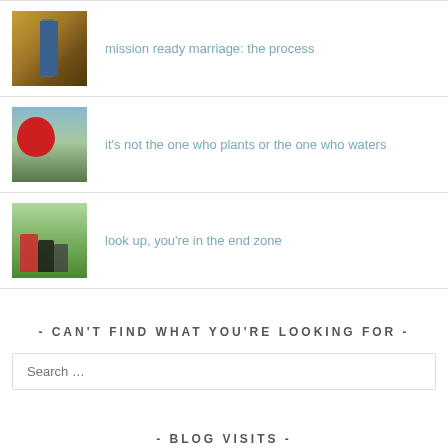mission ready marriage: the process
it's not the one who plants or the one who waters
look up, you're in the end zone
- CAN'T FIND WHAT YOU'RE LOOKING FOR -
Search …
- BLOG VISITS -
132,395